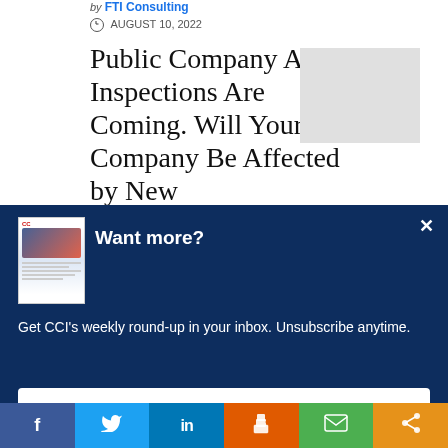by FTI Consulting
AUGUST 10, 2022
Public Company Audit Inspections Are Coming. Will Your Company Be Affected by New
[Figure (photo): Thumbnail image placeholder (grey rectangle)]
[Figure (screenshot): Modal popup with newsletter sign-up. Heading: Want more? Body: Get CCI's weekly round-up in your inbox. Unsubscribe anytime. Button: Let's do this!]
[Figure (infographic): Social share bar with Facebook, Twitter, LinkedIn, Print, Email, and Share buttons]